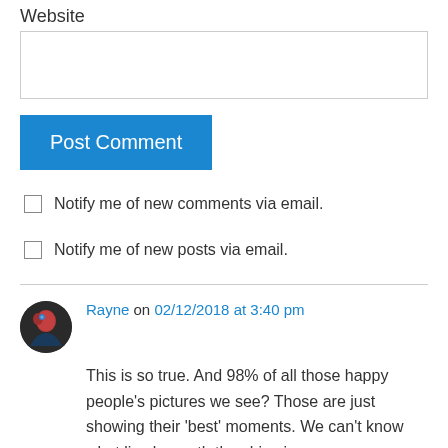Website
[Figure (other): Empty text input box for website URL]
Post Comment
Notify me of new comments via email.
Notify me of new posts via email.
Rayne on 02/12/2018 at 3:40 pm
This is so true. And 98% of all those happy people's pictures we see? Those are just showing their ‘best’ moments. We can’t know what lies beneath the shiny images.
Liked by 1 person